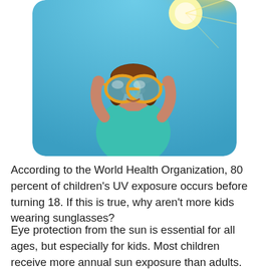[Figure (photo): A young child wearing large oversized yellow-framed sunglasses, holding them up with both hands and looking up at a bright sun in a blue sky. The child is wearing a teal/turquoise shirt. The image has a rounded-corner rectangular crop.]
According to the World Health Organization, 80 percent of children's UV exposure occurs before turning 18. If this is true, why aren't more kids wearing sunglasses?
Eye protection from the sun is essential for all ages, but especially for kids. Most children receive more annual sun exposure than adults.